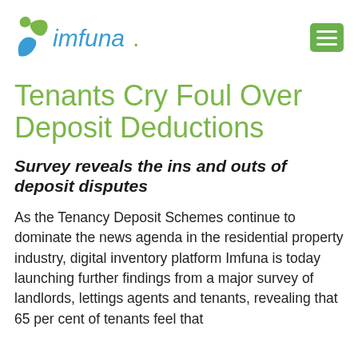imfuna.
Tenants Cry Foul Over Deposit Deductions
Survey reveals the ins and outs of deposit disputes
As the Tenancy Deposit Schemes continue to dominate the news agenda in the residential property industry, digital inventory platform Imfuna is today launching further findings from a major survey of landlords, lettings agents and tenants, revealing that 65 per cent of tenants feel that deductions taken from their deposit were unfair